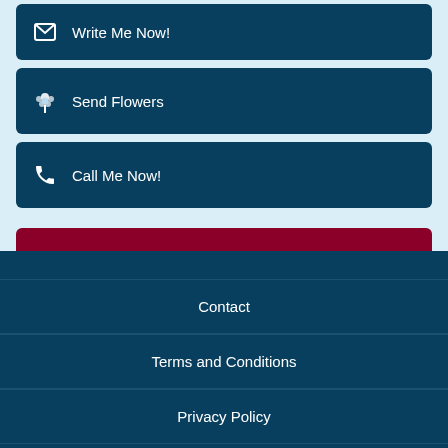Write Me Now!
Send Flowers
Call Me Now!
Add Yuliya (146257) To Hot List
View Hot List
Contact
Terms and Conditions
Privacy Policy